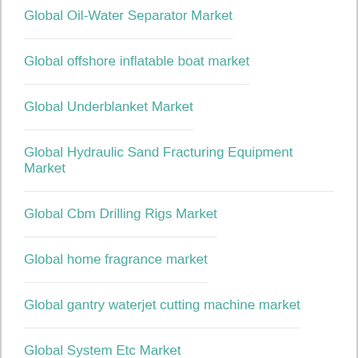Global Oil-Water Separator Market
Global offshore inflatable boat market
Global Underblanket Market
Global Hydraulic Sand Fracturing Equipment Market
Global Cbm Drilling Rigs Market
Global home fragrance market
Global gantry waterjet cutting machine market
Global System Etc Market